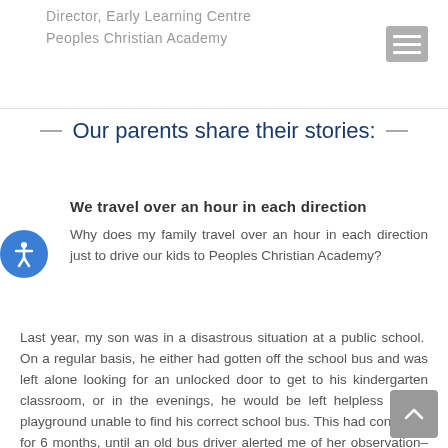Director, Early Learning Centre
Peoples Christian Academy
Our parents share their stories:
We travel over an hour in each direction
Why does my family travel over an hour in each direction just to drive our kids to Peoples Christian Academy?
Last year, my son was in a disastrous situation at a public school.  On a regular basis, he either had gotten off the school bus and was left alone looking for an unlocked door to get to his kindergarten classroom, or in the evenings, he would be left helpless at the playground unable to find his correct school bus. This had continued for 6 months, until an old bus driver alerted me of her observation–that it